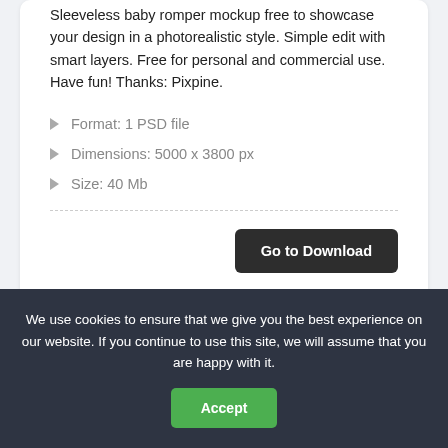Sleeveless baby romper mockup free to showcase your design in a photorealistic style. Simple edit with smart layers. Free for personal and commercial use. Have fun! Thanks: Pixpine.
Format: 1 PSD file
Dimensions: 5000 x 3800 px
Size: 40 Mb
Go to Download
We use cookies to ensure that we give you the best experience on our website. If you continue to use this site, we will assume that you are happy with it.
Accept